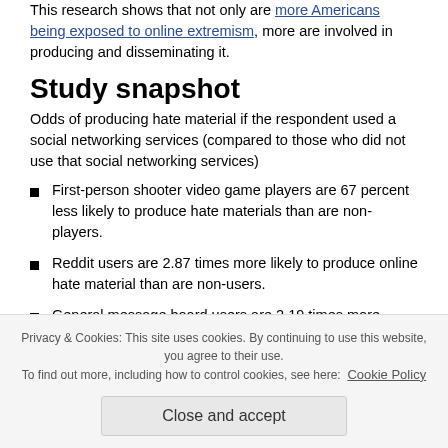This research shows that not only are more Americans being exposed to online extremism, more are involved in producing and disseminating it.
Study snapshot
Odds of producing hate material if the respondent used a social networking services (compared to those who did not use that social networking services)
First-person shooter video game players are 67 percent less likely to produce hate materials than are non-players.
Reddit users are 2.87 times more likely to produce online hate material than are non-users.
General message board users are 2.19 times more
Privacy & Cookies: This site uses cookies. By continuing to use this website, you agree to their use. To find out more, including how to control cookies, see here: Cookie Policy
Close and accept
Based on our data from national samples of Americans